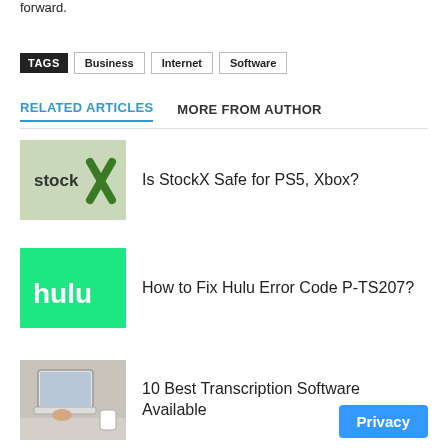forward.
TAGS  Business  Internet  Software
RELATED ARTICLES  MORE FROM AUTHOR
[Figure (logo): StockX logo on light green background]
Is StockX Safe for PS5, Xbox?
[Figure (logo): Hulu logo (white text on green background)]
How to Fix Hulu Error Code P-TS207?
[Figure (photo): Person using laptop/computer at desk, transcription software related]
10 Best Transcription Software Available